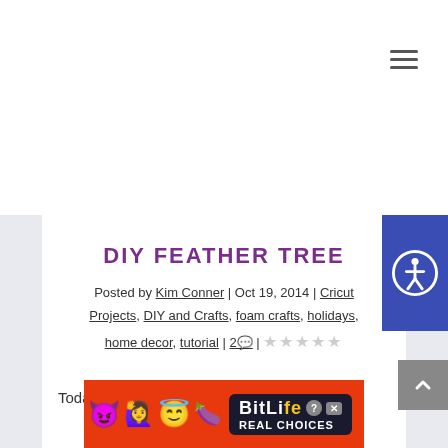[Figure (other): Hamburger/menu icon with three horizontal lines in top right of white header bar]
[Figure (other): Blue accessibility button with wheelchair icon on right side]
DIY FEATHER TREE
Posted by Kim Conner | Oct 19, 2014 | Cricut Projects, DIY and Crafts, foam crafts, holidays, home decor, tutorial | 2 💬 | ★★★★★
Today I'm going to share with you how I made the...
[Figure (screenshot): BitLife ad banner at bottom of page with cartoon emojis and REAL CHOICES text on orange-red background]